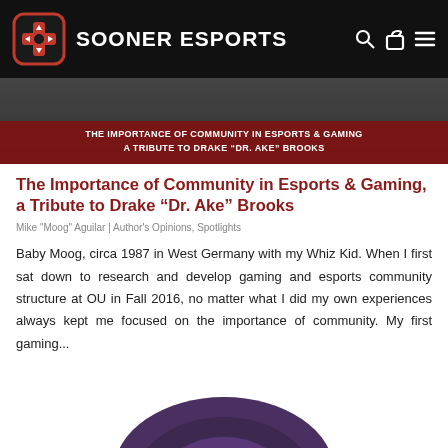SOONER ESPORTS
[Figure (screenshot): Article banner image with dark red overlay showing text: 'THE IMPORTANCE OF COMMUNITY IN ESPORTS & GAMING A TRIBUTE TO DRAKE "DR. AKE" BROOKS']
The Importance of Community in Esports & Gaming, a Tribute to Drake “Dr. Ake” Brooks
Mike "Moog" Aguilar | Author's Opinions, Spotlights
Baby Moog, circa 1987 in West Germany with my Whiz Kid. When I first sat down to research and develop gaming and esports community structure at OU in Fall 2016, no matter what I did my own experiences always kept me focused on the importance of community. My first gaming...
[Figure (photo): Partial view of a circular purple/dark graphic at the bottom of the page]